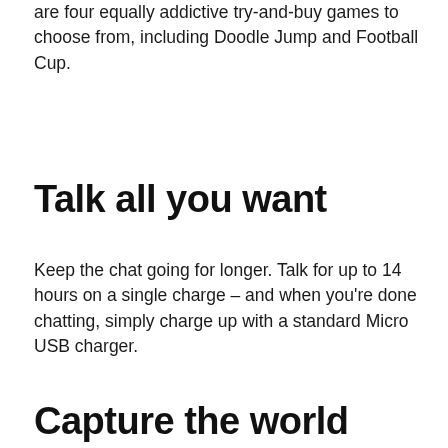are four equally addictive try-and-buy games to choose from, including Doodle Jump and Football Cup.
Talk all you want
Keep the chat going for longer. Talk for up to 14 hours on a single charge – and when you're done chatting, simply charge up with a standard Micro USB charger.
Capture the world around